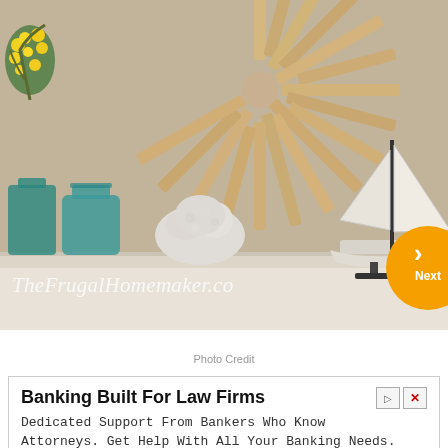[Figure (photo): Interior home decor photo showing a mantel shelf with teal mason jars, white coral, a model sailboat, and a DIY wood sunburst wall art piece. Yellow forsythia flowers visible on the left. Watermark reads 'TheFrugalHomemaker.com'. A 'Next' navigation button in orange is overlaid on the right side.]
Photo Credit
Banking Built For Law Firms
Dedicated Support From Bankers Who Know Attorneys. Get Help With All Your Banking Needs.
Nota  Open